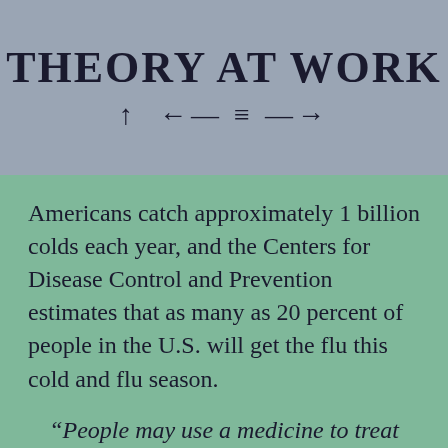THEORY AT WORK
[Figure (other): Decorative arrow and lines symbol row: up arrow, left arrow, three horizontal lines, right arrow]
Americans catch approximately 1 billion colds each year, and the Centers for Disease Control and Prevention estimates that as many as 20 percent of people in the U.S. will get the flu this cold and flu season.
“People may use a medicine to treat their cold or flu symptoms on top of a medicine they are already taking, not